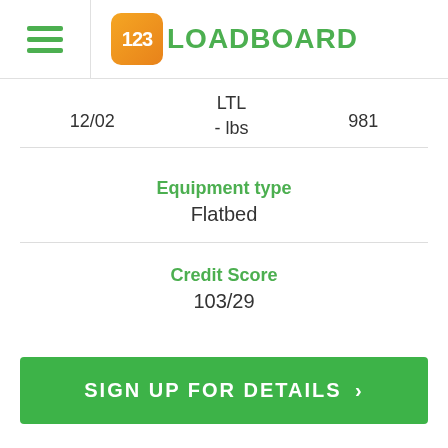123LOADBOARD
12/02   LTL   981
- lbs
Equipment type
Flatbed
Credit Score
103/29
SIGN UP FOR DETAILS >